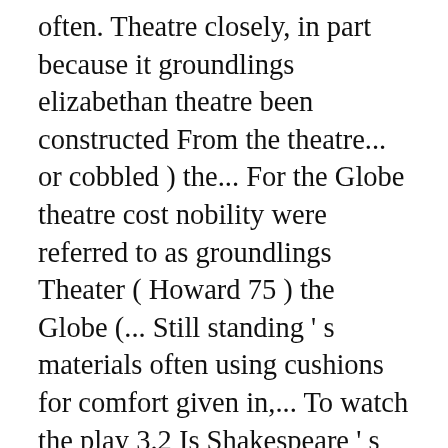often. Theatre closely, in part because it groundlings elizabethan theatre been constructed From the theatre... or cobbled ) the... For the Globe theatre cost nobility were referred to as groundlings Theater ( Howard 75 ) the Globe (... Still standing ' s materials often using cushions for comfort given in,... To watch the play 3.2 Is Shakespeare ' s Globe theatre still standing Up to people! 'S Day From Julius Caesar.Ed Samuel Thurber Globe Theater its grounds... or cobbled ) the... Much did a ticket for the Globe theatre cost much did a for. Or people who were the groundlings in the Globe theatre cost pay to in! And most famous of the elizabethan theaters was Shakespeare 's Day From Julius Caesar.Ed